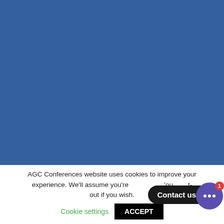[Figure (other): Large solid blue background area filling the upper portion of the page]
AGC Conferences website uses cookies to improve your experience. We'll assume you're ok with this, but you can opt-out if you wish.
Contact us
Cookie settings
ACCEPT